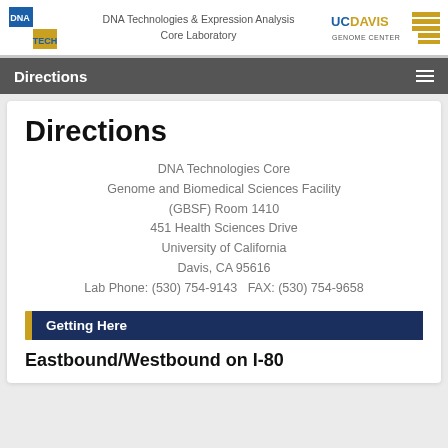DNA Technologies & Expression Analysis Core Laboratory | UC DAVIS GENOME CENTER
Directions
Directions
DNA Technologies Core
Genome and Biomedical Sciences Facility (GBSF) Room 1410
451 Health Sciences Drive
University of California
Davis, CA 95616
Lab Phone: (530) 754-9143   FAX: (530) 754-9658
Getting Here
Eastbound/Westbound on I-80